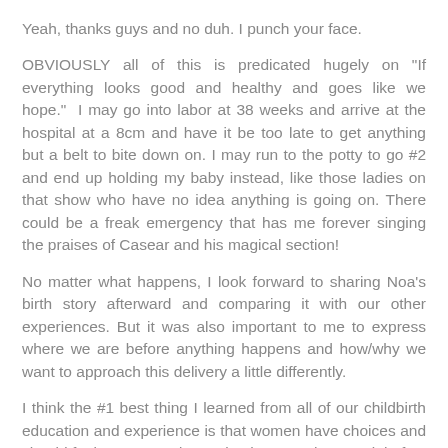Yeah, thanks guys and no duh. I punch your face.
OBVIOUSLY all of this is predicated hugely on "If everything looks good and healthy and goes like we hope." I may go into labor at 38 weeks and arrive at the hospital at a 8cm and have it be too late to get anything but a belt to bite down on. I may run to the potty to go #2 and end up holding my baby instead, like those ladies on that show who have no idea anything is going on. There could be a freak emergency that has me forever singing the praises of Casear and his magical section!
No matter what happens, I look forward to sharing Noa's birth story afterward and comparing it with our other experiences. But it was also important to me to express where we are before anything happens and how/why we want to approach this delivery a little differently.
I think the #1 best thing I learned from all of our childbirth education and experience is that women have choices and should feel empowered to make the ones that are right for